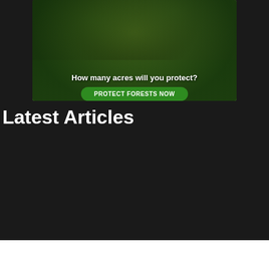[Figure (illustration): Advertisement banner showing a dark furry animal (likely a tamarin or squirrel monkey) in green foliage with text 'How many acres will you protect?' and a green 'PROTECT FORESTS NOW' button]
Latest Articles
[Figure (photo): Product photo of a sleek black and gold soundbar speaker against a purple background]